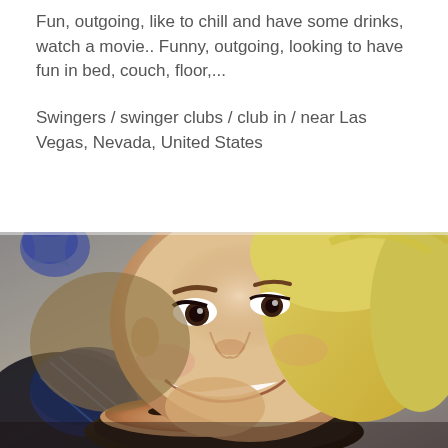Fun, outgoing, like to chill and have some drinks, watch a movie.. Funny, outgoing, looking to have fun in bed, couch, floor,...
Swingers / swinger clubs / club in / near Las Vegas, Nevada, United States
[Figure (photo): Close-up photo of two people lying down together, one with blonde hair smiling broadly, the other partially visible below.]